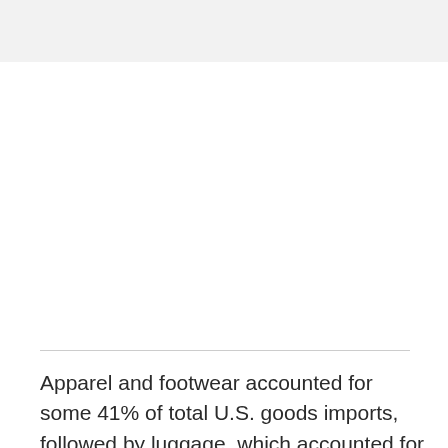Apparel and footwear accounted for some 41% of total U.S. goods imports, followed by luggage, which accounted for nearly 30%, and fish, which accounted